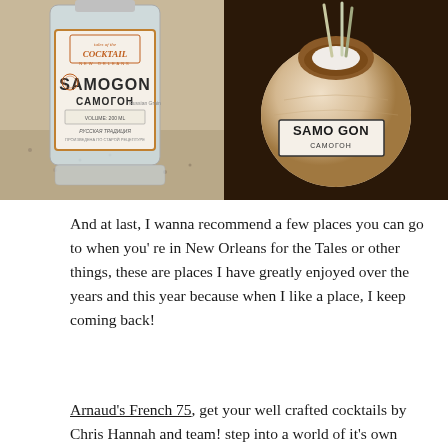[Figure (photo): Two photos side by side: left photo shows a bottle of Samogon (Tales of the Cocktail branded) spirits with label in English and Russian (САМОГОН), sitting on a granite countertop. Right photo shows a fresh young coconut with straws inserted, branded with SAMOGON label on it, against a dark background.]
And at last, I wanna recommend a few places you can go to when you're in New Orleans for the Tales or other things, these are places I have greatly enjoyed over the years and this year because when I like a place, I keep coming back!
Arnaud's French 75, get your well crafted cocktails by Chris Hannah and team! step into a world of it's own right